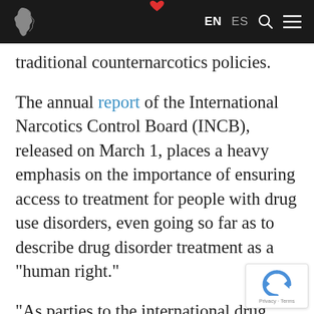EN ES [search] [menu]
traditional counternarcotics policies.
The annual report of the International Narcotics Control Board (INCB), released on March 1, places a heavy emphasis on the importance of ensuring access to treatment for people with drug use disorders, even going so far as to describe drug disorder treatment as a "human right."
"As parties to the international drug control treaties, Governments are required to provide treatment services to people affected by addiction," the report states.